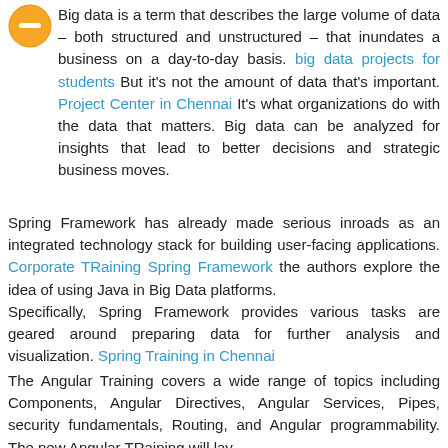[Figure (logo): Orange circular icon with a minus/dash symbol in the center]
Big data is a term that describes the large volume of data – both structured and unstructured – that inundates a business on a day-to-day basis. big data projects for students But it's not the amount of data that's important. Project Center in Chennai It's what organizations do with the data that matters. Big data can be analyzed for insights that lead to better decisions and strategic business moves.
Spring Framework has already made serious inroads as an integrated technology stack for building user-facing applications. Corporate TRaining Spring Framework the authors explore the idea of using Java in Big Data platforms.
Specifically, Spring Framework provides various tasks are geared around preparing data for further analysis and visualization. Spring Training in Chennai
The Angular Training covers a wide range of topics including Components, Angular Directives, Angular Services, Pipes, security fundamentals, Routing, and Angular programmability. The new Angular TRaining will lay